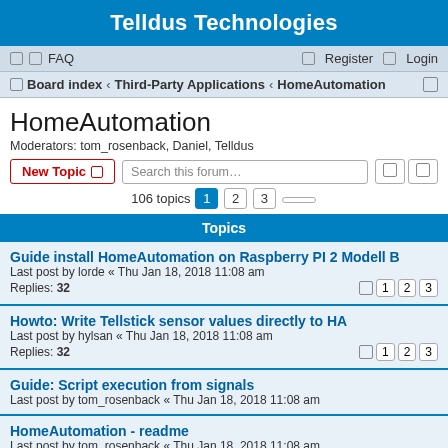Telldus Technologies
FAQ   Register   Login
Board index · Third-Party Applications · HomeAutomation
HomeAutomation
Moderators: tom_rosenback, Daniel, Telldus
New Topic   Search this forum…   106 topics  1  2  3
Topics
Guide install HomeAutomation on Raspberry PI 2 Modell B
Last post by lorde « Thu Jan 18, 2018 11:08 am
Replies: 32
Howto: Write Tellstick sensor values directly to HA
Last post by hylsan « Thu Jan 18, 2018 11:08 am
Replies: 32
Guide: Script execution from signals
Last post by tom_rosenback « Thu Jan 18, 2018 11:08 am
HomeAutomation - readme
Last post by tom_rosenback « Thu Jan 18, 2018 11:08 am